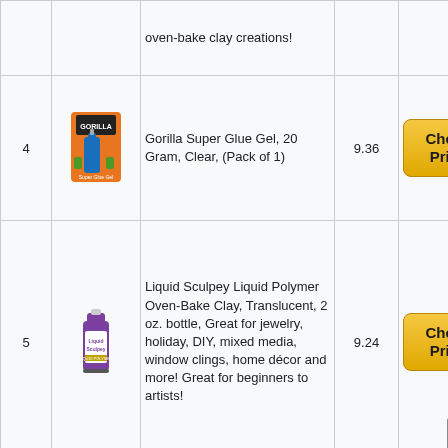| # | Image | Product | Price | Link |
| --- | --- | --- | --- | --- |
|  |  | oven-bake clay creations! |  |  |
| 4 | [Gorilla Super Glue Gel image] | Gorilla Super Glue Gel, 20 Gram, Clear, (Pack of 1) | 9.36 | Check Price |
| 5 | [Liquid Sculpey image] | Liquid Sculpey Liquid Polymer Oven-Bake Clay, Translucent, 2 oz. bottle, Great for jewelry, holiday, DIY, mixed media, window clings, home décor and more! Great for beginners to artists! | 9.24 | Check Price |
|  |  | CiaraQ 24 |  |  |